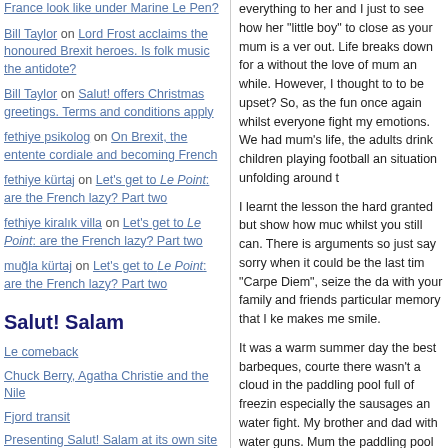Bill Taylor on Lord Frost acclaims the honoured Brexit heroes. Is folk music the antidote?
Bill Taylor on Salut! offers Christmas greetings. Terms and conditions apply
fethiye psikolog on On Brexit, the entente cordiale and becoming French
fethiye kürtaj on Let's get to Le Point: are the French lazy? Part two
fethiye kiralık villa on Let's get to Le Point: are the French lazy? Part two
muğla kürtaj on Let's get to Le Point: are the French lazy? Part two
Salut! Salam
Le comeback
Chuck Berry, Agatha Christie and the Nile
Fjord transit
Presenting Salut! Salam at its own site
At last: in praise of the 4x4
The world's most expensive cocktail
Magical Oman
From the heat of an Arabian summer.....
everything to her and I just to see how her "little boy" to close as your mum is a ver out. Life breaks down for a without the love of mum an while. However, I thought to to be upset? So, as the fun once again whilst everyone fight my emotions. We had mum's life, the adults drink children playing football an situation unfolding around t
I learnt the lesson the hard granted but show how muc whilst you still can. There is arguments so just say sorry when it could be the last tim "Carpe Diem", seize the da with your family and friends particular memory that I ke makes me smile.
It was a warm summer day the best barbeques, courte there wasn't a cloud in the paddling pool full of freezin especially the sausages an water fight. My brother and dad with water guns. Mum the paddling pool and start tidal waves into the air dire she soaked us but failed to